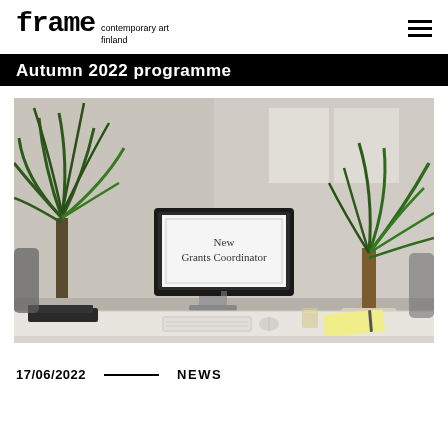frame contemporary art finland
Autumn 2022 programme
[Figure (photo): Office desk with a computer monitor displaying 'New Grants Coordinator', two large potted yucca plants, keyboard, mouse, and a yellow notepad in the background.]
17/06/2022 — NEWS